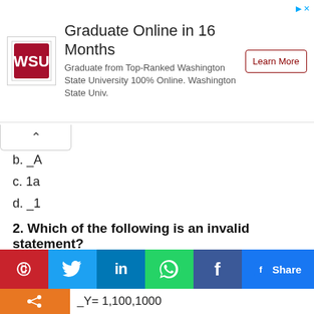[Figure (other): Advertisement banner for Washington State University online graduate program with WSU logo, text 'Graduate Online in 16 Months', sub-text 'Graduate from Top-Ranked Washington State University 100% Online. Washington State Univ.', and a 'Learn More' button.]
b. _A
c. 1a
d. _1
2. Which of the following is an invalid statement?
a. w.X.YZ = 1,00,000,0000
b. WXYZ = 1,0,00,000
[Figure (other): Social share bar with Pinterest, Twitter, LinkedIn, WhatsApp, Facebook, and Facebook Share buttons]
c. _Y= 1,100,1000